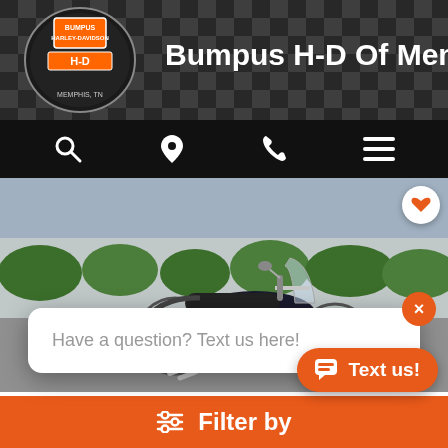Bumpus H-D Of Memphis
[Figure (screenshot): Website screenshot of Bumpus Harley-Davidson of Memphis dealership page. Shows a navigation header with logo, icons for search, location, phone, and menu. Main content shows a Harley-Davidson motorcycle (black and chrome, with windshield and saddlebags) photographed outdoors in a parking lot with green bushes in background. A chat popup reads 'Have a question? Text us here!' with a close X button and an orange 'Text us!' floating button. Bottom orange bar shows 'Filter by' with filter icon.]